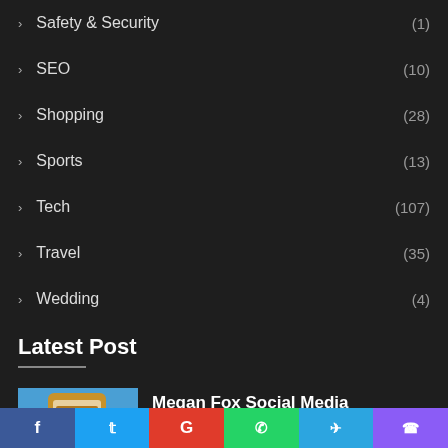Safety & Security (1)
SEO (10)
Shopping (28)
Sports (13)
Tech (107)
Travel (35)
Wedding (4)
Latest Post
[Figure (photo): Smartphone with social media app screen on a gold/yellow surface against blue background]
Megan Fox Social Media Influencer
2 days ago
[Figure (photo): Partial image visible at bottom]
Tips to Make Small Spaces Look Bigger